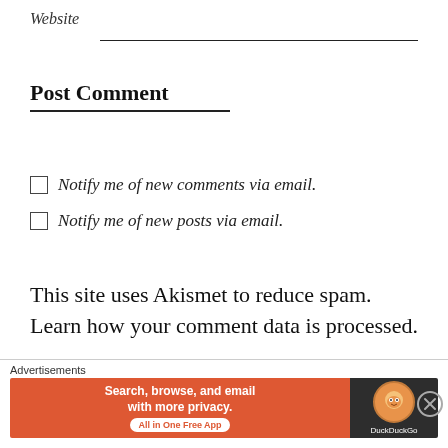Website
Post Comment
Notify me of new comments via email.
Notify me of new posts via email.
This site uses Akismet to reduce spam. Learn how your comment data is processed.
Advertisements
[Figure (screenshot): WordPress advertisement banner with dark navy background and WordPress logo]
Advertisements
[Figure (screenshot): DuckDuckGo advertisement banner: orange background with text 'Search, browse, and email with more privacy. All in One Free App' and DuckDuckGo logo on dark right panel]